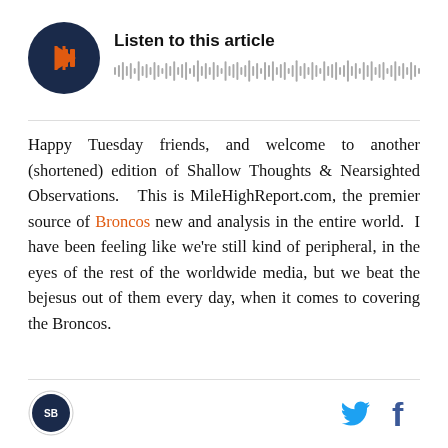[Figure (other): Audio player widget with dark circular play button showing orange play icon, title 'Listen to this article', and an audio waveform visualization below]
Happy Tuesday friends, and welcome to another (shortened) edition of Shallow Thoughts & Nearsighted Observations. This is MileHighReport.com, the premier source of Broncos new and analysis in the entire world. I have been feeling like we're still kind of peripheral, in the eyes of the rest of the worldwide media, but we beat the bejesus out of them every day, when it comes to covering the Broncos.
SB Nation logo icon | Twitter bird icon | Facebook f icon